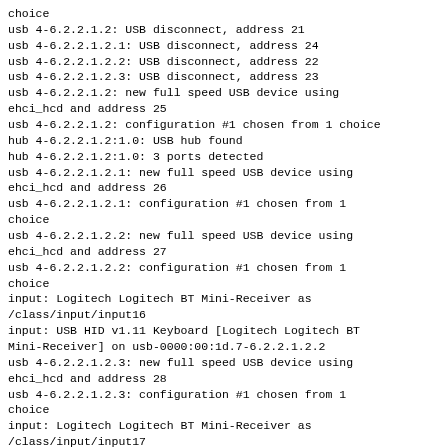choice
usb 4-6.2.2.1.2: USB disconnect, address 21
usb 4-6.2.2.1.2.1: USB disconnect, address 24
usb 4-6.2.2.1.2.2: USB disconnect, address 22
usb 4-6.2.2.1.2.3: USB disconnect, address 23
usb 4-6.2.2.1.2: new full speed USB device using ehci_hcd and address 25
usb 4-6.2.2.1.2: configuration #1 chosen from 1 choice
hub 4-6.2.2.1.2:1.0: USB hub found
hub 4-6.2.2.1.2:1.0: 3 ports detected
usb 4-6.2.2.1.2.1: new full speed USB device using ehci_hcd and address 26
usb 4-6.2.2.1.2.1: configuration #1 chosen from 1 choice
usb 4-6.2.2.1.2.2: new full speed USB device using ehci_hcd and address 27
usb 4-6.2.2.1.2.2: configuration #1 chosen from 1 choice
input: Logitech Logitech BT Mini-Receiver as /class/input/input16
input: USB HID v1.11 Keyboard [Logitech Logitech BT Mini-Receiver] on usb-0000:00:1d.7-6.2.2.1.2.2
usb 4-6.2.2.1.2.3: new full speed USB device using ehci_hcd and address 28
usb 4-6.2.2.1.2.3: configuration #1 chosen from 1 choice
input: Logitech Logitech BT Mini-Receiver as /class/input/input17
input,hiddev96: USB HID v1.11 Mouse [Logitech Logitech BT Mini-Receiver] on usb-0000:00:1d.7-6.2.2.1.2.3